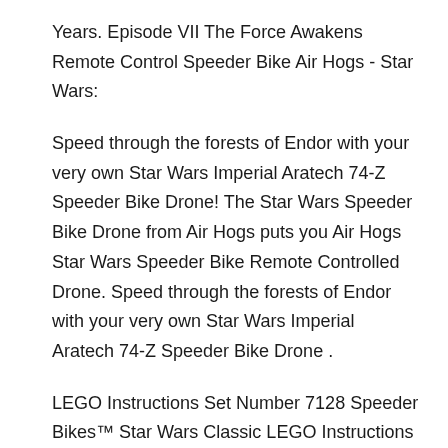Years. Episode VII The Force Awakens Remote Control Speeder Bike Air Hogs - Star Wars:
Speed through the forests of Endor with your very own Star Wars Imperial Aratech 74-Z Speeder Bike Drone! The Star Wars Speeder Bike Drone from Air Hogs puts you Air Hogs Star Wars Speeder Bike Remote Controlled Drone. Speed through the forests of Endor with your very own Star Wars Imperial Aratech 74-Z Speeder Bike Drone .
LEGO Instructions Set Number 7128 Speeder Bikes™ Star Wars Classic LEGO Instructions Set Number 7128 - Speeder Bikes™ LEGO Instructions 7128 Speeder Bikes View all 21 questions in Air Hogs Instructions. Imperial Aratech 74-Z Speeder Bike™ Drone Instructions Star Trek Enterprise Instructions